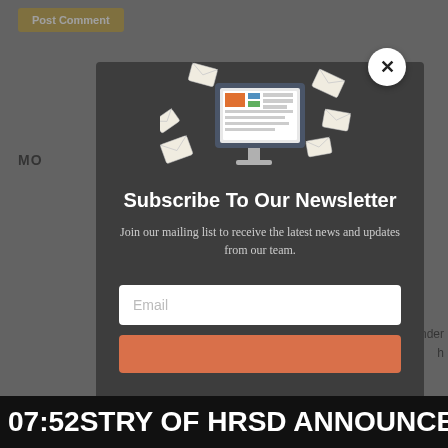[Figure (screenshot): Website screenshot with a newsletter subscription modal popup overlay. The modal has a dark gray background, an illustration of a computer monitor with envelopes/newsletter, title 'Subscribe To Our Newsletter', subtitle text, an email input field, and a subscribe button. A close button (X) is in the top-right of the modal. Behind the modal is a grayed-out webpage with a gold 'Post Comment' button and partial text. A black ticker bar at the bottom shows '07:52 STRY OF HRSD ANNOUNCE'.]